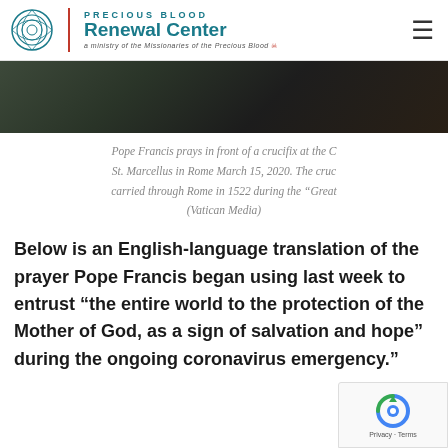PRECIOUS BLOOD Renewal Center a ministry of the Missionaries of the Precious Blood
[Figure (photo): Partial view of a dark image, likely Pope Francis praying in front of a crucifix.]
Pope Francis prays in front of a crucifix at the C St. Marcellus in Rome March 15, 2020. The cruc carried through Rome in 1522 during the “Great (Vatican Media)
Below is an English-language translation of the prayer Pope Francis began using last week to entrust “the entire world to the protection of the Mother of God, as a sign of salvation and hope” during the ongoing coronavirus emergency.